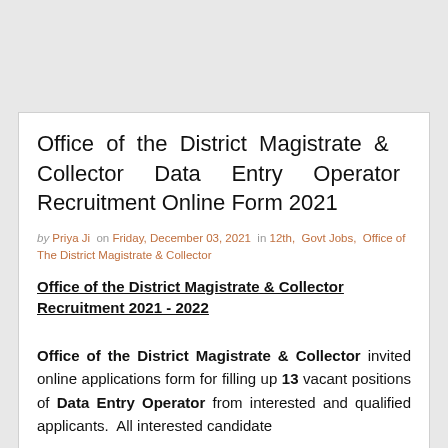Office of the District Magistrate & Collector Data Entry Operator Recruitment Online Form 2021
by Priya Ji on Friday, December 03, 2021 in 12th, Govt Jobs, Office of The District Magistrate & Collector
Office of the District Magistrate & Collector Recruitment 2021 - 2022
Office of the District Magistrate & Collector invited online applications form for filling up 13 vacant positions of Data Entry Operator from interested and qualified applicants. All interested candidate